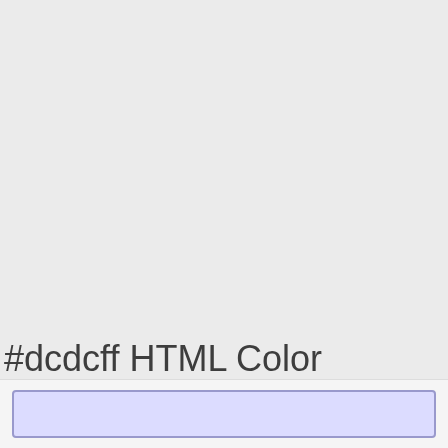#dcdcff HTML Color
[Figure (illustration): A rectangular color swatch showing the HTML color #dcdcff (light lavender/periwinkle) with a border, displayed at the bottom of the page on a light gray background.]